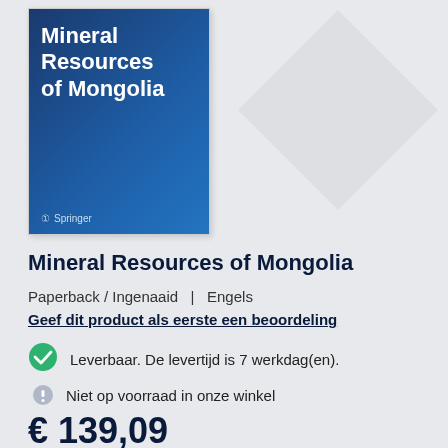[Figure (illustration): Book cover of 'Mineral Resources of Mongolia' published by Springer, with a blue gradient background and white bold title text]
Mineral Resources of Mongolia
Paperback / Ingenaaid  |  Engels
Geef dit product als eerste een beoordeling
Leverbaar. De levertijd is 7 werkdag(en).
Niet op voorraad in onze winkel
€ 139,09